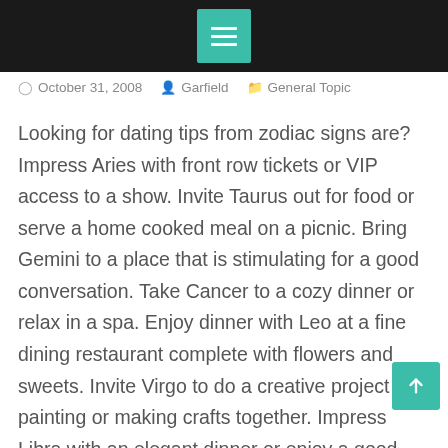October 31, 2008   Garfield   General Topic
Looking for dating tips from zodiac signs are? Impress Aries with front row tickets or VIP access to a show. Invite Taurus out for food or serve a home cooked meal on a picnic. Bring Gemini to a place that is stimulating for a good conversation. Take Cancer to a cozy dinner or relax in a spa. Enjoy dinner with Leo at a fine dining restaurant complete with flowers and sweets. Invite Virgo to do a creative project like painting or making crafts together. Impress Libra with an elegant dinner or enjoy a good movie together. Surprise Scorpio with varied activities depending on their current interest. Invite Sagittarius to a world music festival or an out-of-town trip. Bring Capricorn